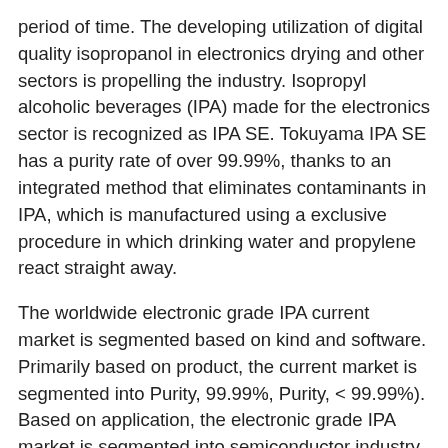period of time. The developing utilization of digital quality isopropanol in electronics drying and other sectors is propelling the industry. Isopropyl alcoholic beverages (IPA) made for the electronics sector is recognized as IPA SE. Tokuyama IPA SE has a purity rate of over 99.99%, thanks to an integrated method that eliminates contaminants in IPA, which is manufactured using a exclusive procedure in which drinking water and propylene react straight away.
The worldwide electronic grade IPA current market is segmented based on kind and software. Primarily based on product, the current market is segmented into Purity, 99.99%, Purity, < 99.99%). Based on application, the electronic grade IPA market is segmented into semiconductor industry, PCBs, LCD cleaning, and others.
Geographically, the global electronic grade IPA market covers the analysis of four major regions including North America (the US and Canada), Europe (UK, Germany, Italy, Spain, France,